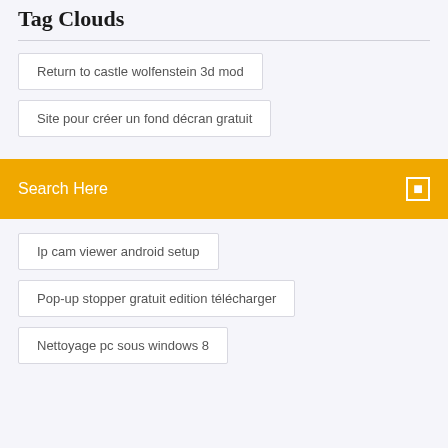Tag Clouds
Return to castle wolfenstein 3d mod
Site pour créer un fond décran gratuit
Search Here
Ip cam viewer android setup
Pop-up stopper gratuit edition télécharger
Nettoyage pc sous windows 8